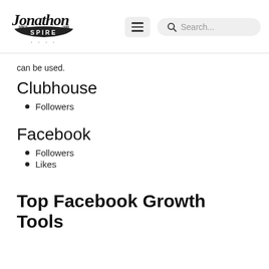Jonathon Spire
can be used.
Clubhouse
Followers
Facebook
Followers
Likes
Top Facebook Growth Tools